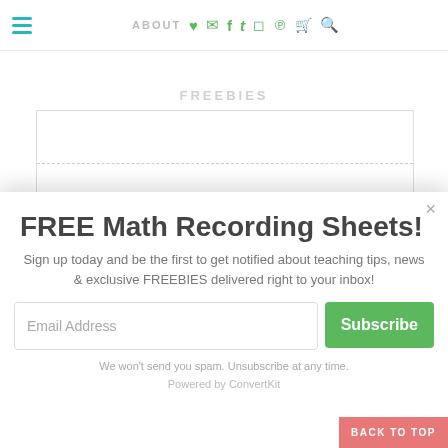ABOUT ♥ ✉ f t IG P 🛒 🔍
FREEBIES
First Name
FREE Math Recording Sheets!
Sign up today and be the first to get notified about teaching tips, news & exclusive FREEBIES delivered right to your inbox!
Email Address
Subscribe
We won't send you spam. Unsubscribe at any time.
Powered by ConvertKit
BACK TO TOP